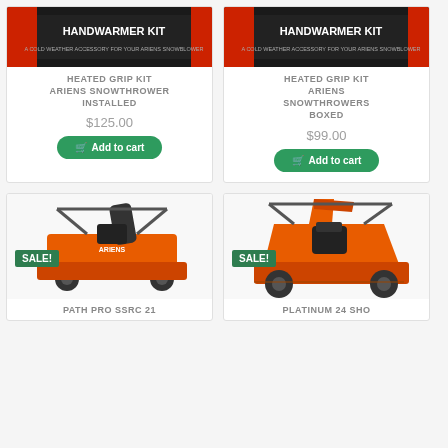[Figure (photo): Handwarmer Kit product image - red and black packaging on dark background]
HEATED GRIP KIT ARIENS SNOWTHROWER INSTALLED
$125.00
Add to cart
[Figure (photo): Handwarmer Kit product image - red and black packaging on dark background]
HEATED GRIP KIT ARIENS SNOWTHROWERS BOXED
$99.00
Add to cart
[Figure (photo): Orange Ariens Path Pro SSRC 21 single-stage snow blower with SALE badge]
SALE!
PATH PRO SSRC 21
[Figure (photo): Orange Ariens Platinum 24 SHO two-stage snow blower with SALE badge]
SALE!
PLATINUM 24 SHO